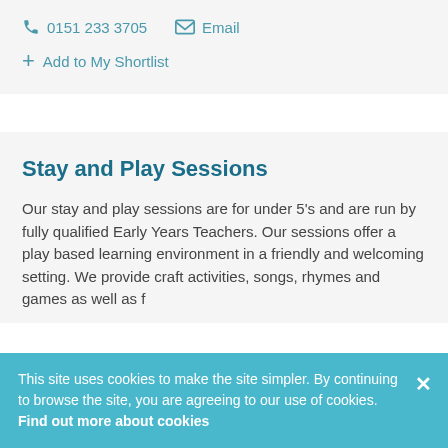0151 233 3705   Email
+ Add to My Shortlist
Stay and Play Sessions
Our stay and play sessions are for under 5's and are run by fully qualified Early Years Teachers. Our sessions offer a play based learning environment in a friendly and welcoming setting. We provide craft activities, songs, rhymes and games as well as f...
This site uses cookies to make the site simpler. By continuing to browse the site, you are agreeing to our use of cookies. Find out more about cookies